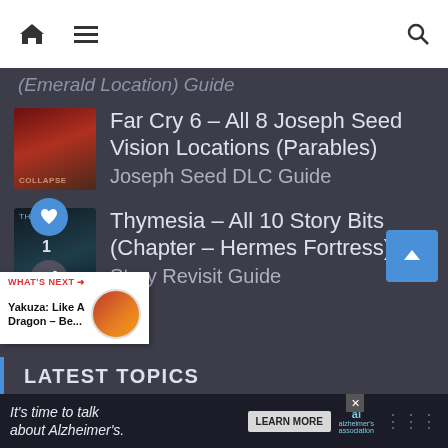Navigation bar with home, menu, and search icons
(Emerald Location) Guide
Far Cry 6 – All 8 Joseph Seed Vision Locations (Parables) Joseph Seed DLC Guide
Thymesia – All 10 Story Bits (Chapter – Hermes Fortress) Story Revisit Guide
LATEST TOPICS
It's time to talk about Alzheimer's. LEARN MORE